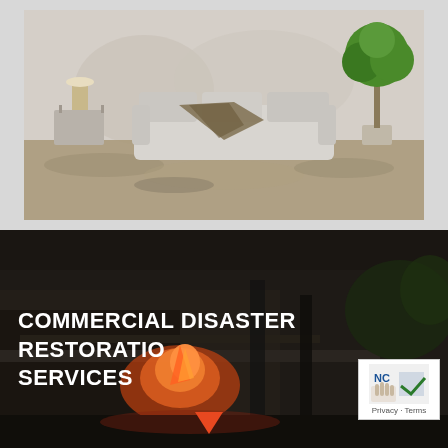[Figure (photo): A flooded interior room showing a white sofa, side table with lamp, and potted tree, all partially submerged in floodwater with water damage marks on the walls.]
[Figure (photo): A dark, fire-damaged commercial building exterior at night with flames visible, used as background for the 'Commercial Disaster Restoration Services' text overlay.]
COMMERCIAL DISASTER RESTORATION SERVICES